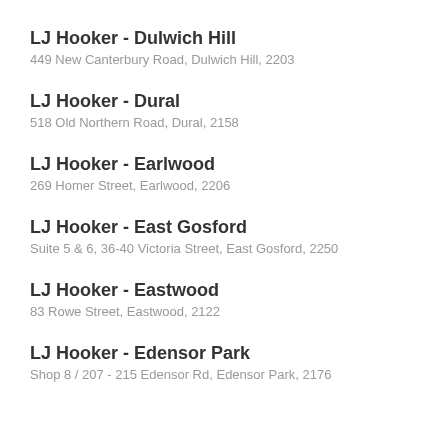LJ Hooker - Dulwich Hill
449 New Canterbury Road, Dulwich Hill, 2203
LJ Hooker - Dural
518 Old Northern Road, Dural, 2158
LJ Hooker - Earlwood
269 Homer Street, Earlwood, 2206
LJ Hooker - East Gosford
Suite 5 & 6, 36-40 Victoria Street, East Gosford, 2250
LJ Hooker - Eastwood
83 Rowe Street, Eastwood, 2122
LJ Hooker - Edensor Park
Shop 8 / 207 - 215 Edensor Rd, Edensor Park, 2176